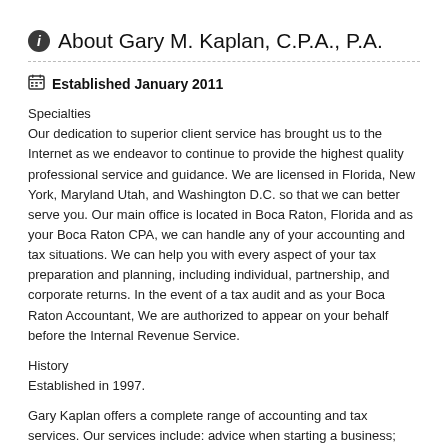About Gary M. Kaplan, C.P.A., P.A.
Established January 2011
Specialties
Our dedication to superior client service has brought us to the Internet as we endeavor to continue to provide the highest quality professional service and guidance. We are licensed in Florida, New York, Maryland Utah, and Washington D.C. so that we can better serve you. Our main office is located in Boca Raton, Florida and as your Boca Raton CPA, we can handle any of your accounting and tax situations. We can help you with every aspect of your tax preparation and planning, including individual, partnership, and corporate returns. In the event of a tax audit and as your Boca Raton Accountant, We are authorized to appear on your behalf before the Internal Revenue Service.
History
Established in 1997.
Gary Kaplan offers a complete range of accounting and tax services. Our services include: advice when starting a business; financial reporting; tax problem solving; business accounting; and individual…